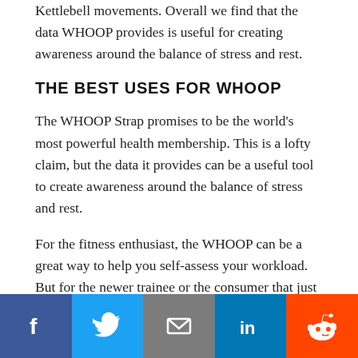Kettlebell movements. Overall we find that the data WHOOP provides is useful for creating awareness around the balance of stress and rest.
THE BEST USES FOR WHOOP
The WHOOP Strap promises to be the world's most powerful health membership. This is a lofty claim, but the data it provides can be a useful tool to create awareness around the balance of stress and rest.
For the fitness enthusiast, the WHOOP can be a great way to help you self-assess your workload. But for the newer trainee or the consumer that just wants to get fit, their money would be better spent elsewhere. We would recommend finding a health
[Figure (infographic): Social sharing buttons bar: Facebook (blue), Twitter (light blue), Email (gray), LinkedIn (blue), Reddit (orange)]